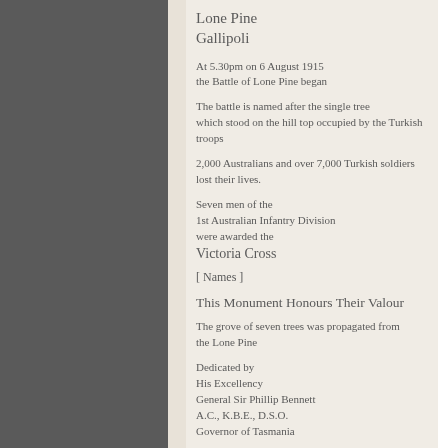Lone Pine
Gallipoli
At 5.30pm on 6 August 1915
the Battle of Lone Pine began
The battle is named after the single tree
which stood on the hill top occupied by the Turkish troops
2,000 Australians and over 7,000 Turkish soldiers
lost their lives.
Seven men of the
1st Australian Infantry Division
were awarded the
Victoria Cross
[ Names ]
This Monument Honours Their Valour
The grove of seven trees was propagated from
the Lone Pine
Dedicated by
His Excellency
General Sir Phillip Bennett
A.C., K.B.E., D.S.O.
Governor of Tasmania